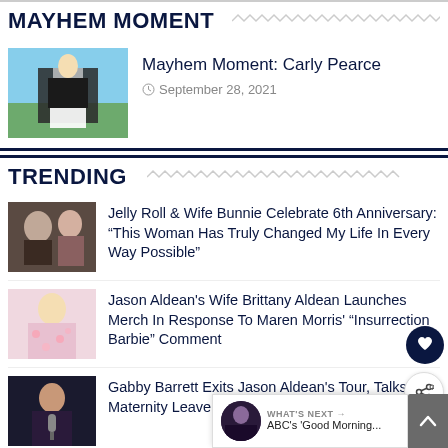MAYHEM MOMENT
[Figure (photo): Woman in black and white dress sitting in a field]
Mayhem Moment: Carly Pearce
September 28, 2021
TRENDING
[Figure (photo): Jelly Roll and wife Bunnie]
Jelly Roll & Wife Bunnie Celebrate 6th Anniversary: "This Woman Has Truly Changed My Life In Every Way Possible"
[Figure (photo): Brittany Aldean in floral outfit]
Jason Aldean's Wife Brittany Aldean Launches Merch In Response To Maren Morris' "Insurrection Barbie" Comment
[Figure (photo): Gabby Barrett singing on stage]
Gabby Barrett Exits Jason Aldean's Tour, Talks Maternity Leave & Forthcoming Album
[Figure (photo): Zac Brown performing]
Zac Brown Stops Concert & Calls On Security To Kick Out Disruptive Fan: "What...